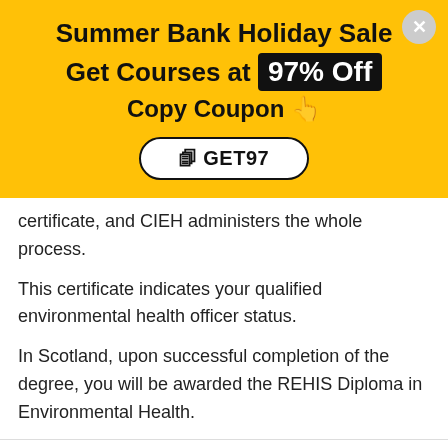Summer Bank Holiday Sale
Get Courses at 97% Off
Copy Coupon 👆
GET97
certificate, and CIEH administers the whole process. This certificate indicates your qualified environmental health officer status.
In Scotland, upon successful completion of the degree, you will be awarded the REHIS Diploma in Environmental Health.
This website uses cookies to improve your experience. We'll assume you're ok with this, but you can opt-out if you wish.
Cookie settings
ACCEPT